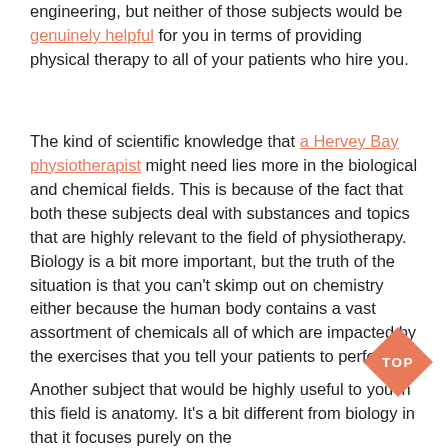engineering, but neither of those subjects would be genuinely helpful for you in terms of providing physical therapy to all of your patients who hire you.
The kind of scientific knowledge that a Hervey Bay physiotherapist might need lies more in the biological and chemical fields. This is because of the fact that both these subjects deal with substances and topics that are highly relevant to the field of physiotherapy. Biology is a bit more important, but the truth of the situation is that you can't skimp out on chemistry either because the human body contains a vast assortment of chemicals all of which are impacted by the exercises that you tell your patients to perform.
Another subject that would be highly useful to you in this field is anatomy. It's a bit different from biology in that it focuses purely on the
[Figure (other): Orange diamond-shaped TOP button badge in the bottom-right corner]